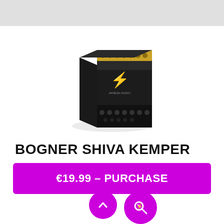[Figure (photo): Product box for Bogner Shiva Kemper guitar amp profile pack. The box is dark/black with gold and purple accents, featuring a stylized lightning bolt logo in purple and an image of a guitar amplifier at the bottom.]
BOGNER SHIVA KEMPER
€19.99 – PURCHASE